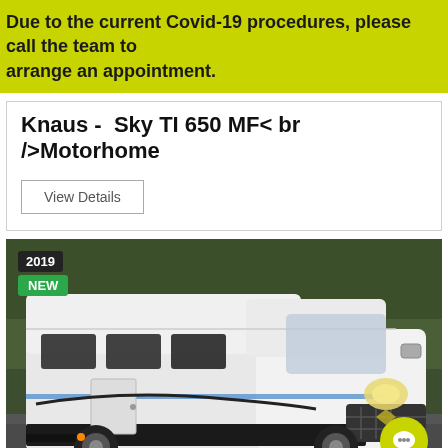Due to the current Covid-19 procedures, please call the team to arrange an appointment.
Knaus -  Sky TI 650 MF< br />Motorhome
View Details
[Figure (photo): White Knaus Sky TI 650 MF motorhome (camper van) parked on a road with trees in the background. Badge showing 2019 and NEW in top left corner. Green chat button in bottom right.]